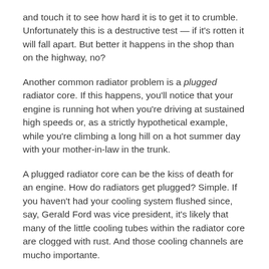and touch it to see how hard it is to get it to crumble. Unfortunately this is a destructive test — if it's rotten it will fall apart. But better it happens in the shop than on the highway, no?
Another common radiator problem is a plugged radiator core. If this happens, you'll notice that your engine is running hot when you're driving at sustained high speeds or, as a strictly hypothetical example, while you're climbing a long hill on a hot summer day with your mother-in-law in the trunk.
A plugged radiator core can be the kiss of death for an engine. How do radiators get plugged? Simple. If you haven't had your cooling system flushed since, say, Gerald Ford was vice president, it's likely that many of the little cooling tubes within the radiator core are clogged with rust. And those cooling channels are mucho importante.